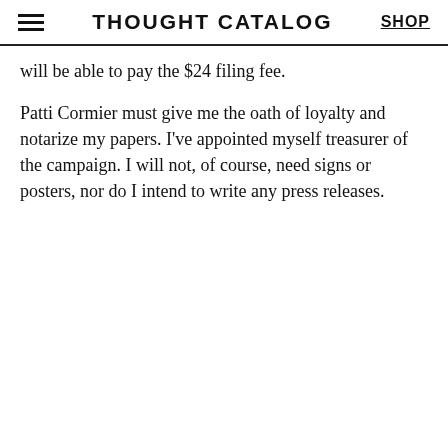THOUGHT CATALOG  SHOP
will be able to pay the $24 filing fee.
Patti Cormier must give me the oath of loyalty and notarize my papers. I've appointed myself treasurer of the campaign. I will not, of course, need signs or posters, nor do I intend to write any press releases.